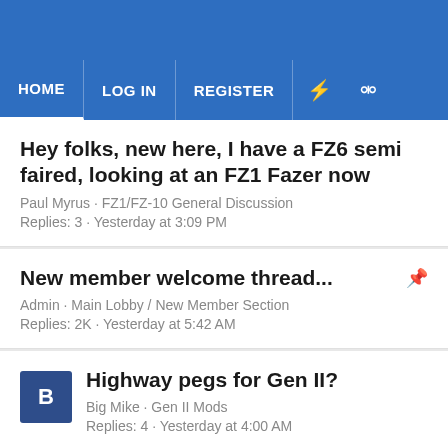HOME  LOG IN  REGISTER
Hey folks, new here, I have a FZ6 semi faired, looking at an FZ1 Fazer now
Paul Myrus · FZ1/FZ-10 General Discussion
Replies: 3 · Yesterday at 3:09 PM
New member welcome thread...
Admin · Main Lobby / New Member Section
Replies: 2K · Yesterday at 5:42 AM
Highway pegs for Gen II?
Big Mike · Gen II Mods
Replies: 4 · Yesterday at 4:00 AM
Headlights not connecting
SleekFZ · Gen I Mods